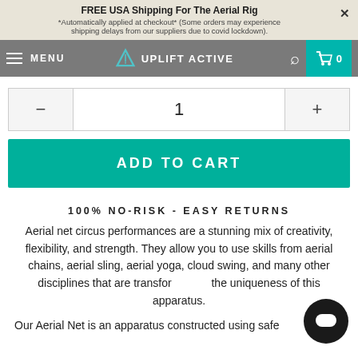FREE USA Shipping For The Aerial Rig
*Automatically applied at checkout* (Some orders may experience shipping delays from our suppliers due to covid lockdown).
[Figure (screenshot): Navigation bar with hamburger menu, UPLIFT ACTIVE logo, search icon, and cart icon showing 0 items]
[Figure (infographic): Quantity selector with minus button, 1 in center, plus button]
[Figure (infographic): ADD TO CART teal button]
100% NO-RISK - EASY RETURNS
Aerial net circus performances are a stunning mix of creativity, flexibility, and strength. They allow you to use skills from aerial chains, aerial sling, aerial yoga, cloud swing, and many other disciplines that are transformed by the uniqueness of this apparatus.
Our Aerial Net is an apparatus constructed using safe